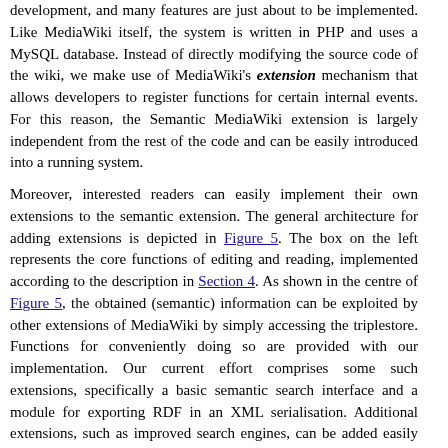development, and many features are just about to be implemented. Like MediaWiki itself, the system is written in PHP and uses a MySQL database. Instead of directly modifying the source code of the wiki, we make use of MediaWiki's extension mechanism that allows developers to register functions for certain internal events. For this reason, the Semantic MediaWiki extension is largely independent from the rest of the code and can be easily introduced into a running system.
Moreover, interested readers can easily implement their own extensions to the semantic extension. The general architecture for adding extensions is depicted in Figure 5. The box on the left represents the core functions of editing and reading, implemented according to the description in Section 4. As shown in the centre of Figure 5, the obtained (semantic) information can be exploited by other extensions of MediaWiki by simply accessing the triplestore. Functions for conveniently doing so are provided with our implementation. Our current effort comprises some such extensions, specifically a basic semantic search interface and a module for exporting RDF in an XML serialisation. Additional extensions, such as improved search engines, can be added easily and in a way that is largely independent of our source code. MediaWiki provides means of adding "Special:" pages to the running system in a modular way, so that a broad range of semantic tools and interfaces could be registered and evaluated without problems.